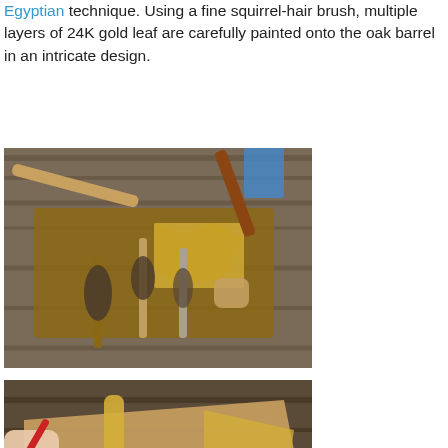Egyptian technique. Using a fine squirrel-hair brush, multiple layers of 24K gold leaf are carefully painted onto the oak barrel in an intricate design.
[Figure (photo): Gold leafing tools and materials laid out on a wooden board: brushes, gold leaf sheets, and tools on a grey wooden surface background.]
[Figure (photo): Hands applying gold leaf with a red-handled brush onto leather/wood surface, with a gold-covered tube, a small cup of gold, and a large bristle brush visible on a wooden surface.]